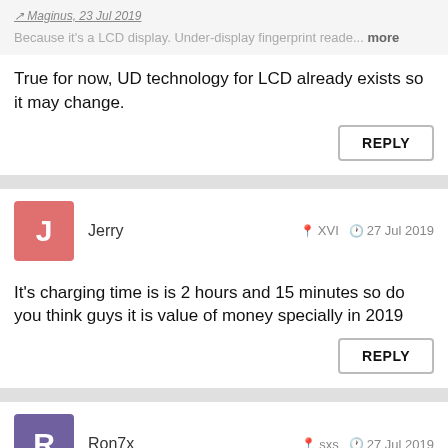Maginus, 23 Jul 2019
Because it's a LCD display. Under-display fingerprint reade... more
True for now, UD technology for LCD already exists so it may change.
REPLY
Jerry  XVI  27 Jul 2019
It's charging time is is 2 hours and 15 minutes so do you think guys it is value of money specially in 2019
REPLY
Ron7x  sxs  27 Jul 2019